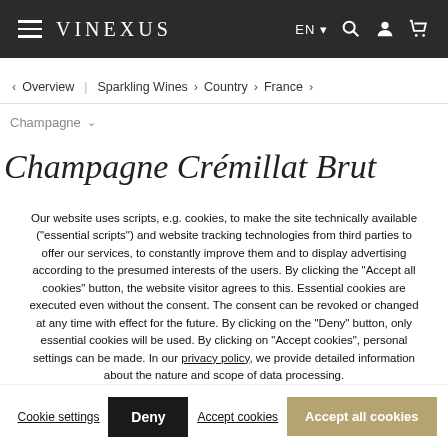VINEXUS — EN | Search | Account | Cart
< Overview | Sparkling Wines > Country > France >
Champagne ˅
Champagne Crémillat Brut
Our website uses scripts, e.g. cookies, to make the site technically available ("essential scripts") and website tracking technologies from third parties to offer our services, to constantly improve them and to display advertising according to the presumed interests of the users. By clicking the "Accept all cookies" button, the website visitor agrees to this. Essential cookies are executed even without the consent. The consent can be revoked or changed at any time with effect for the future. By clicking on the "Deny" button, only essential cookies will be used. By clicking on "Accept cookies", personal settings can be made. In our privacy policy, we provide detailed information about the nature and scope of data processing.
Cookie settings | Deny | Accept cookies | Accept all cookies